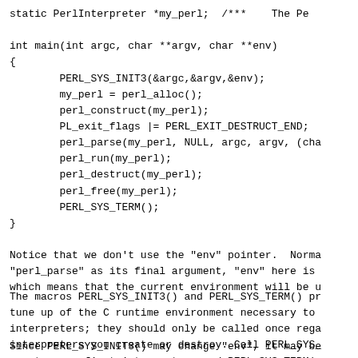static PerlInterpreter *my_perl;  /***    The Pe

int main(int argc, char **argv, char **env)
{
        PERL_SYS_INIT3(&argc,&argv,&env);
        my_perl = perl_alloc();
        perl_construct(my_perl);
        PL_exit_flags |= PERL_EXIT_DESTRUCT_END;
        perl_parse(my_perl, NULL, argc, argv, (cha
        perl_run(my_perl);
        perl_destruct(my_perl);
        perl_free(my_perl);
        PERL_SYS_TERM();
}
Notice that we don't use the "env" pointer.  Norma
"perl_parse" as its final argument, "env" here is
which means that the current environment will be u
The macros PERL_SYS_INIT3() and PERL_SYS_TERM() pr
tune up of the C runtime environment necessary to
interpreters; they should only be called once rega
interpreters you create or destroy. Call PERL_SYS_
create your first interpreter, and PERL_SYS_TERM(
last interpreter.
Since PERL_SYS_INIT3() may change "env", it may be
provide "env" as an argument to perl_parse().